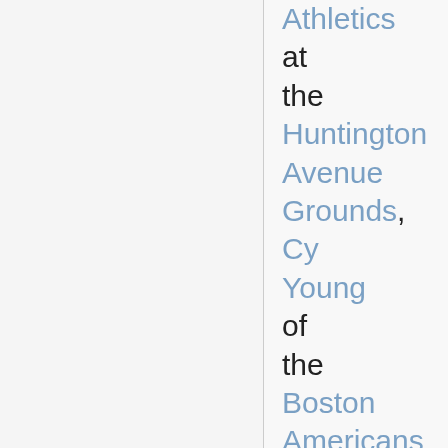Athletics at the Huntington Avenue Grounds, Cy Young of the Boston Americans threw the first